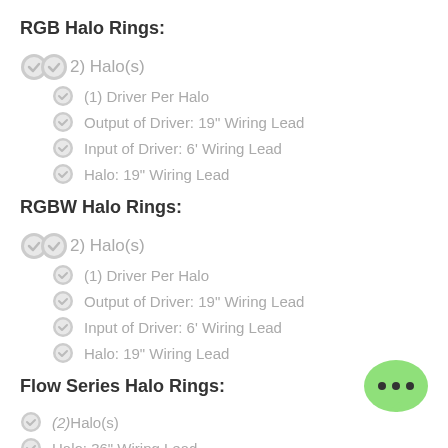RGB Halo Rings:
(2) Halo(s)
(1) Driver Per Halo
Output of Driver: 19" Wiring Lead
Input of Driver: 6' Wiring Lead
Halo: 19" Wiring Lead
RGBW Halo Rings:
(2) Halo(s)
(1) Driver Per Halo
Output of Driver: 19" Wiring Lead
Input of Driver: 6' Wiring Lead
Halo: 19" Wiring Lead
Flow Series Halo Rings:
(2) Halo(s)
Halo: 36" Wiring Lead